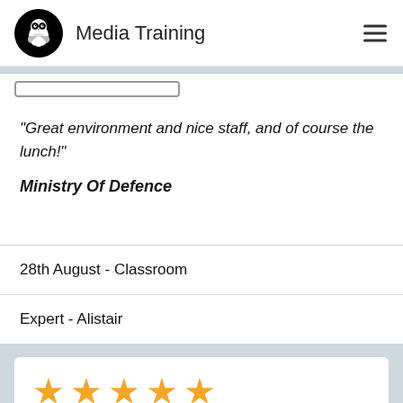Media Training
"Great environment and nice staff, and of course the lunch!"
Ministry Of Defence
28th August - Classroom
Expert - Alistair
[Figure (other): Five gold star rating icons]